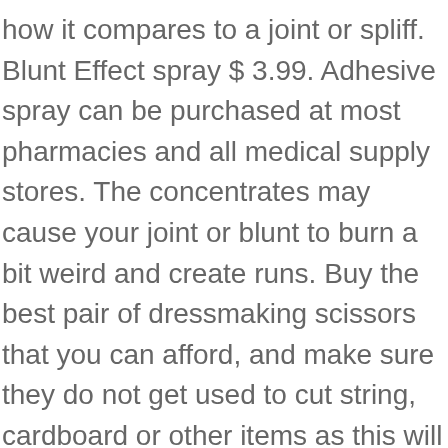how it compares to a joint or spliff. Blunt Effect spray $ 3.99. Adhesive spray can be purchased at most pharmacies and all medical supply stores. The concentrates may cause your joint or blunt to burn a bit weird and create runs. Buy the best pair of dressmaking scissors that you can afford, and make sure they do not get used to cut string, cardboard or other items as this will blunt them quickly. Pharmacy hours vary. King Palm, Million Bananas, Kingpin, and more brands. The Witchy Hippy “NeNa” rolling tray $ 25.00. We have a dedicated team that works around the clock to find, post and verify the offers we present to consumers. Shop Now YOUR BAG JavaScript seems to be disabled in your browser. We are happy to give our loyal customers the ability to shop online all of our non-tobacco products. Post navigation 1 thought on “ Blunt Magic